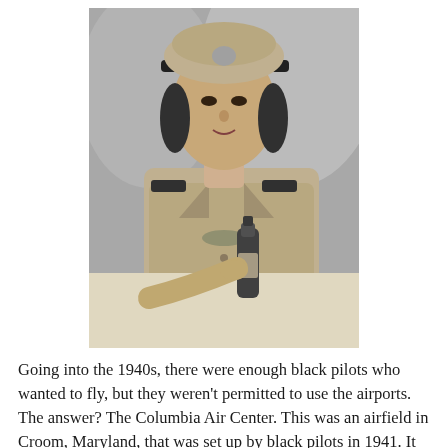[Figure (photo): Black and white photograph of a woman in a military-style uniform and officer's cap, sitting at a table holding a glass bottle (appears to be a Coca-Cola bottle). She is looking slightly to the side.]
Going into the 1940s, there were enough black pilots who wanted to fly, but they weren't permitted to use the airports. The answer? The Columbia Air Center. This was an airfield in Croom, Maryland, that was set up by black pilots in 1941. It had an all-black staff and trainers who served in World War II as Tuskegee